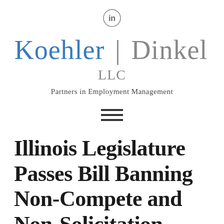[Figure (logo): LinkedIn icon - circular button with 'in' text]
[Figure (logo): Koehler | Dinkel LLC logo - Partners in Employment Management]
Partners in Employment Management
[Figure (other): Hamburger menu icon with three horizontal lines]
Illinois Legislature Passes Bill Banning Non-Compete and Non-Solicitation